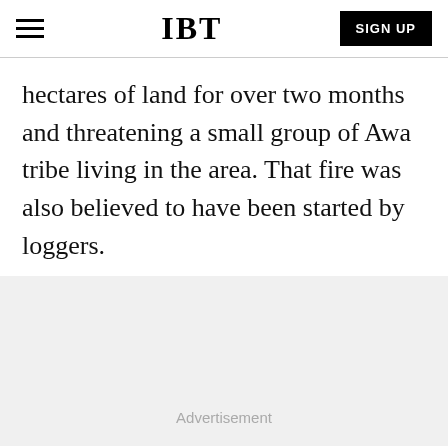IBT | SIGN UP
hectares of land for over two months and threatening a small group of Awa tribe living in the area. That fire was also believed to have been started by loggers.
Advertisement